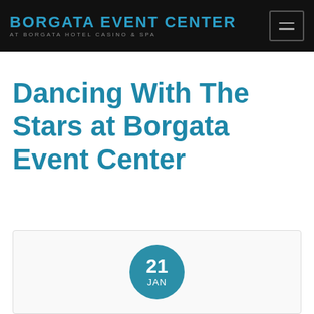BORGATA EVENT CENTER AT BORGATA HOTEL CASINO & SPA
Dancing With The Stars at Borgata Event Center
[Figure (other): Event date circle showing 21 JAN inside a teal circular badge within a card container]